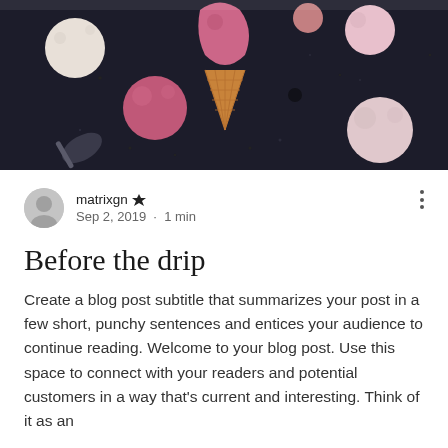[Figure (photo): Dark background photo of assorted ice cream scoops — pink and white scoops scattered on a dark surface, one on a waffle cone, with a spoon visible, shot from above]
matrixgn 👑
Sep 2, 2019 · 1 min
Before the drip
Create a blog post subtitle that summarizes your post in a few short, punchy sentences and entices your audience to continue reading. Welcome to your blog post. Use this space to connect with your readers and potential customers in a way that's current and interesting. Think of it as an